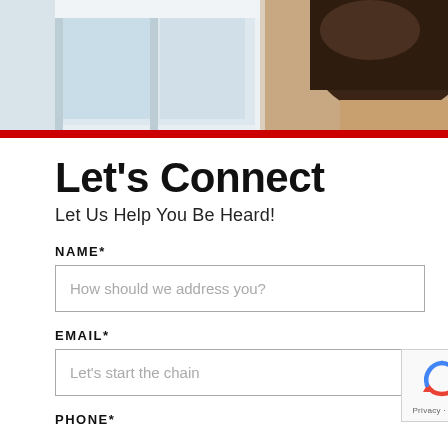[Figure (photo): Banner photo showing a person with dark hair, partially visible, in a bright office environment with windows. A red horizontal bar appears below the photo.]
Let's Connect
Let Us Help You Be Heard!
NAME*
How should we address you?
EMAIL*
Let's start the chain
PHONE*